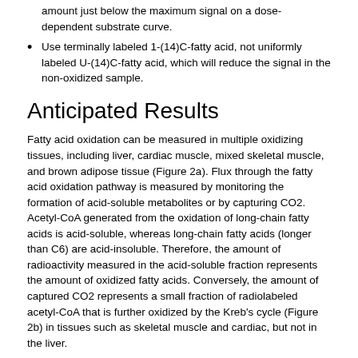amount just below the maximum signal on a dose-dependent substrate curve.
Use terminally labeled 1-(14)C-fatty acid, not uniformly labeled U-(14)C-fatty acid, which will reduce the signal in the non-oxidized sample.
Anticipated Results
Fatty acid oxidation can be measured in multiple oxidizing tissues, including liver, cardiac muscle, mixed skeletal muscle, and brown adipose tissue (Figure 2a). Flux through the fatty acid oxidation pathway is measured by monitoring the formation of acid-soluble metabolites or by capturing CO2. Acetyl-CoA generated from the oxidation of long-chain fatty acids is acid-soluble, whereas long-chain fatty acids (longer than C6) are acid-insoluble. Therefore, the amount of radioactivity measured in the acid-soluble fraction represents the amount of oxidized fatty acids. Conversely, the amount of captured CO2 represents a small fraction of radiolabeled acetyl-CoA that is further oxidized by the Kreb's cycle (Figure 2b) in tissues such as skeletal muscle and cardiac, but not in the liver.
One regulatory mechanism of the fatty acid oxidation pathway is by substrate availability, and therefore the pathway will exhibit substrate dose-dependent oxidation rates. Under low substrate concentrations, tissue homogenates will have low oxidation rates (Figure 2b). However,